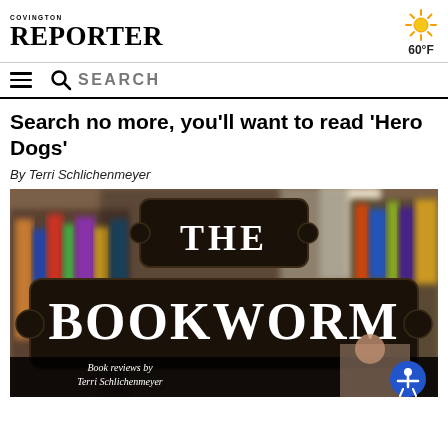Covington Reporter — 60°F
SEARCH
Search no more, you'll want to read 'Hero Dogs'
By Terri Schlichenmeyer
[Figure (photo): The Bookworm logo — decorative sign with 'THE BOOKWORM' text over a blurred bookshelf background, with tagline 'Book reviews by Terri Schlichenmeyer' at bottom and a person's photo at bottom right. Accessibility button visible at bottom right corner.]